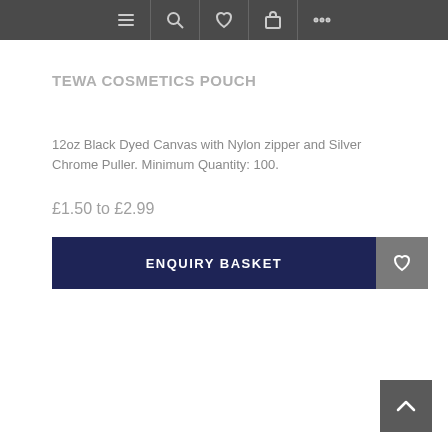Navigation bar with menu, search, wishlist, basket, and more icons
TEWA COSMETICS POUCH
12oz Black Dyed Canvas with Nylon zipper and Silver Chrome Puller. Minimum Quantity: 100.
£1.50 to £2.99
ENQUIRY BASKET